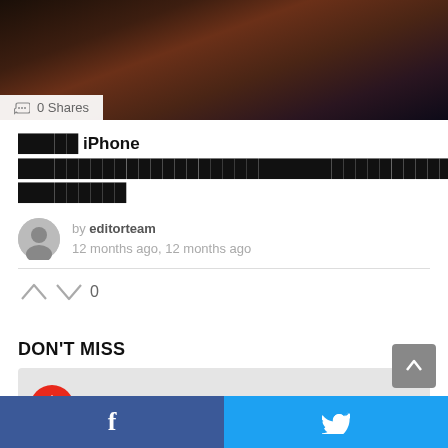[Figure (photo): Dark blurred background showing a hand holding a phone, used as hero image]
0 Shares
█████ iPhone ████████████████████████████████████████████████████
by editorteam
12 months ago, 12 months ago
0
DON'T MISS
[Figure (illustration): Hot trending card with flame icon on grey background]
f  (Facebook share button)  |  (Twitter share button)